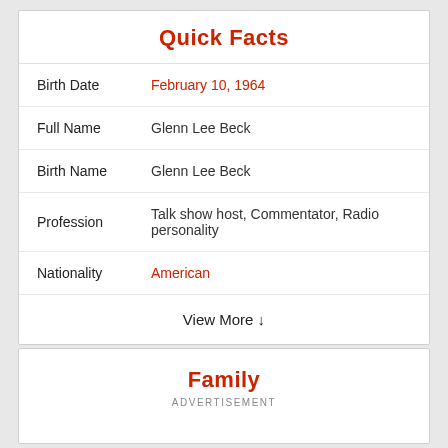Quick Facts
| Birth Date | February 10, 1964 |
| Full Name | Glenn Lee Beck |
| Birth Name | Glenn Lee Beck |
| Profession | Talk show host, Commentator, Radio personality |
| Nationality | American |
View More ↓
Family
ADVERTISEMENT